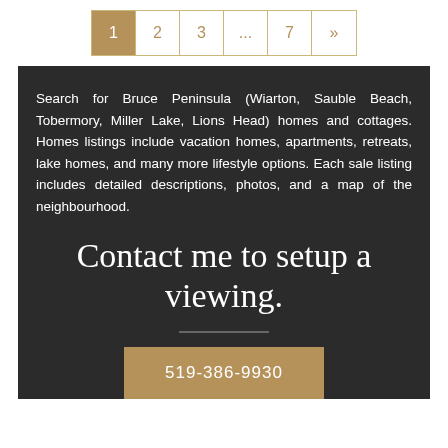1  2  3  ...  7  »
Search for Bruce Peninsula (Wiarton, Sauble Beach, Tobermory, Miller Lake, Lions Head) homes and cottages. Homes listings include vacation homes, apartments, retreats, lake homes, and many more lifestyle options. Each sale listing includes detailed descriptions, photos, and a map of the neighbourhood.
Contact me to setup a viewing.
519-386-9930